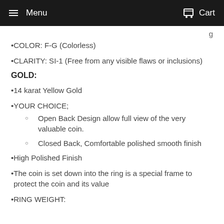Menu   Cart
g
COLOR:  F-G (Colorless)
CLARITY: SI-1 (Free from any visible flaws or inclusions)
GOLD:
14 karat Yellow Gold
YOUR CHOICE;
Open Back Design allow full view of the very valuable coin.
Closed Back, Comfortable polished smooth finish
High Polished Finish
The coin is set down into the ring is a special frame to protect the coin and its value
RING WEIGHT: